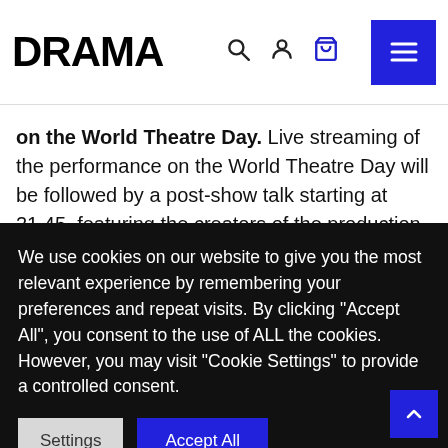DRAMA
on the World Theatre Day. Live streaming of the performance on the World Theatre Day will be followed by a post-show talk starting at 21.45, featuring the creators of the production. You can watch it on Zoom streamed live on the official YouTube and Facebook pages of the Drama.
The upcoming production on the Drama Main Stage is the second part of an international trilogy conceived after
We use cookies on our website to give you the most relevant experience by remembering your preferences and repeat visits. By clicking "Accept All", you consent to the use of ALL the cookies. However, you may visit "Cookie Settings" to provide a controlled consent.